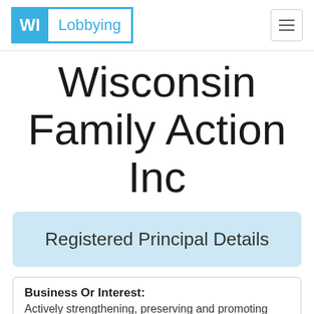WI Lobbying
Wisconsin Family Action Inc
Registered Principal Details
Business Or Interest: Actively strengthening, preserving and promoting